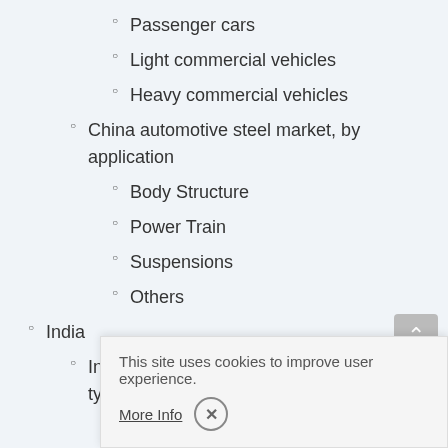Passenger cars
Light commercial vehicles
Heavy commercial vehicles
China automotive steel market, by application
Body Structure
Power Train
Suspensions
Others
India
India automotive steel market, by vehicle type
Passenger cars
Light commercial vehicles
Heavy commercial vehicles
India automotive steel market, by application
Body Structure
Power Train
This site uses cookies to improve user experience.
More Info